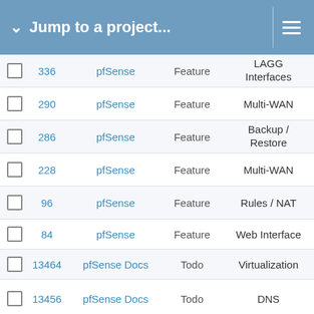Jump to a project...
|  | # | Project | Type | Category |
| --- | --- | --- | --- | --- |
| ☐ | 336 | pfSense | Feature | LAGG Interfaces |
| ☐ | 290 | pfSense | Feature | Multi-WAN |
| ☐ | 286 | pfSense | Feature | Backup / Restore |
| ☐ | 228 | pfSense | Feature | Multi-WAN |
| ☐ | 96 | pfSense | Feature | Rules / NAT |
| ☐ | 84 | pfSense | Feature | Web Interface |
| ☐ | 13464 | pfSense Docs | Todo | Virtualization |
| ☐ | 13456 | pfSense Docs | Todo | DNS |
| ☐ | 13452 | pfSense Docs | Todo | Installation / Upgrades |